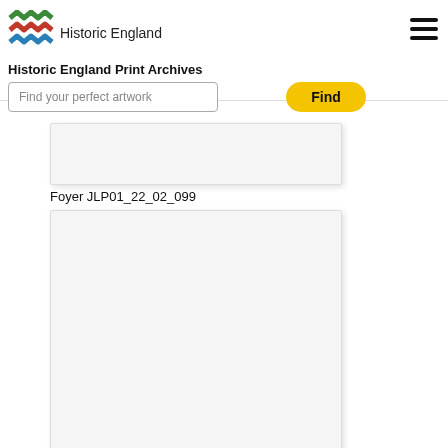[Figure (logo): Historic England logo with colored zigzag bands (green, red, blue) and text 'Historic England']
Historic England Print Archives
Find your perfect artwork
Find
Foyer JLP01_22_02_099
[Figure (photo): Blank/white image placeholder for Inner roof structure]
Inner roof structure JLP01_22_02_054